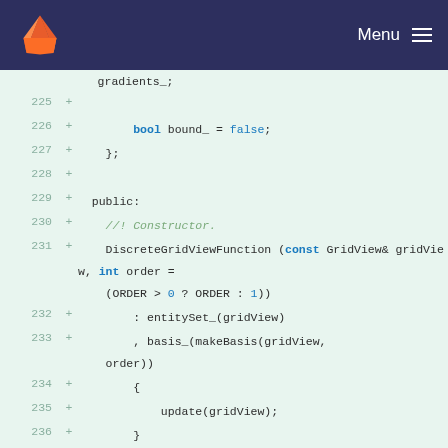GitLab — Menu
[Figure (screenshot): Code diff view showing lines 225-239 of a C++ source file with added lines (marked with +) on a light green background. Code shows a DiscreteGridViewFunction class constructor and update method.]